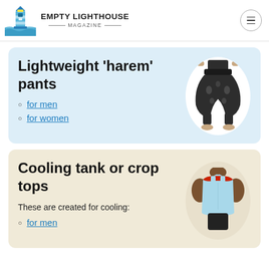EMPTY LIGHTHOUSE MAGAZINE
Lightweight 'harem' pants
for men
for women
[Figure (photo): Woman wearing lightweight harem pants with elephant pattern]
Cooling tank or crop tops
These are created for cooling:
for men
[Figure (photo): Man wearing a light blue cooling tank top with red trim]